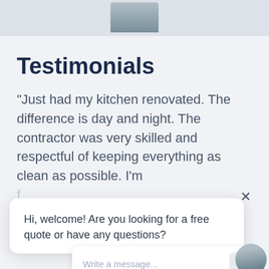[Figure (photo): Partial photo of a person at top of page, cropped, shown as image strip]
Testimonials
"Just had my kitchen renovated. The difference is day and night. The contractor was very skilled and respectful of keeping everything as clean as possible. I’m [text continues but partially obscured]
Hi, welcome! Are you looking for a free quote or have any questions?
Write a message...